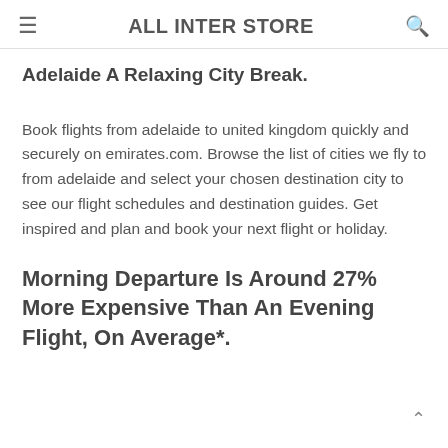ALL INTER STORE
Adelaide A Relaxing City Break.
Book flights from adelaide to united kingdom quickly and securely on emirates.com. Browse the list of cities we fly to from adelaide and select your chosen destination city to see our flight schedules and destination guides. Get inspired and plan and book your next flight or holiday.
Morning Departure Is Around 27% More Expensive Than An Evening Flight, On Average*.